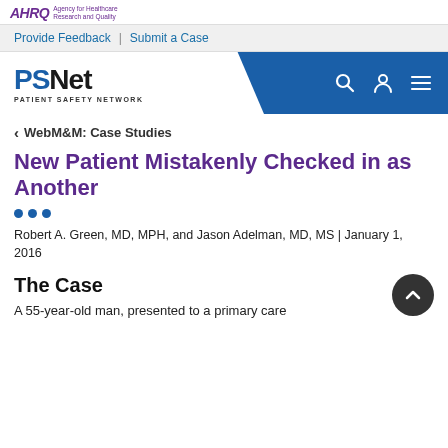AHRQ Agency for Healthcare Research and Quality
Provide Feedback | Submit a Case
PSNet PATIENT SAFETY NETWORK
< WebM&M: Case Studies
New Patient Mistakenly Checked in as Another
Robert A. Green, MD, MPH, and Jason Adelman, MD, MS | January 1, 2016
The Case
A 55-year-old man, presented to a primary care